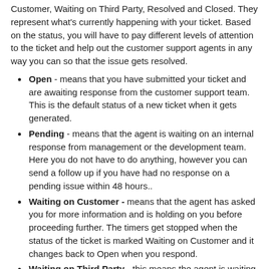Customer, Waiting on Third Party, Resolved and Closed. They represent what's currently happening with your ticket. Based on the status, you will have to pay different levels of attention to the ticket and help out the customer support agents in any way you can so that the issue gets resolved.
Open - means that you have submitted your ticket and are awaiting response from the customer support team. This is the default status of a new ticket when it gets generated.
Pending - means that the agent is waiting on an internal response from management or the development team. Here you do not have to do anything, however you can send a follow up if you have had no response on a pending issue within 48 hours..
Waiting on Customer - means that the agent has asked you for more information and is holding on you before proceeding further. The timers get stopped when the status of the ticket is marked Waiting on Customer and it changes back to Open when you respond.
Waiting on Third Party - this means the agent is waiting on a response from a third party such as Telkom. The timers get stopped when the status of the ticket is marked Waiting on Third Party and changes back to Open when the agent receives a reply and informs of you of the progress.
Resolved - means that your issue has been taken care of by the agent and he is waiting for you to acknowledge it. If you are satisfied, you can choose to close the ticket. If not, you can